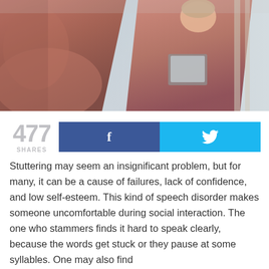[Figure (photo): A woman in a red/rust sleeveless top holding a tablet, seen from behind on the left and facing forward on the right, standing in a bright room — appears to be practicing a speech in front of a mirror.]
477
SHARES
Stuttering may seem an insignificant problem, but for many, it can be a cause of failures, lack of confidence, and low self-esteem. This kind of speech disorder makes someone uncomfortable during social interaction. The one who stammers finds it hard to speak clearly, because the words get stuck or they pause at some syllables. One may also find